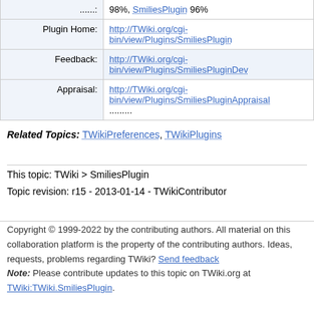| Label | Value |
| --- | --- |
|  | 98%, SmiliesPlugin 96% |
| Plugin Home: | http://TWiki.org/cgi-bin/view/Plugins/SmiliesPlugin |
| Feedback: | http://TWiki.org/cgi-bin/view/Plugins/SmiliesPluginDev |
| Appraisal: | http://TWiki.org/cgi-bin/view/Plugins/SmiliesPluginAppraisal |
Related Topics: TWikiPreferences, TWikiPlugins
This topic: TWiki > SmiliesPlugin
Topic revision: r15 - 2013-01-14 - TWikiContributor
Copyright © 1999-2022 by the contributing authors. All material on this collaboration platform is the property of the contributing authors. Ideas, requests, problems regarding TWiki? Send feedback
Note: Please contribute updates to this topic on TWiki.org at TWiki:TWiki.SmiliesPlugin.